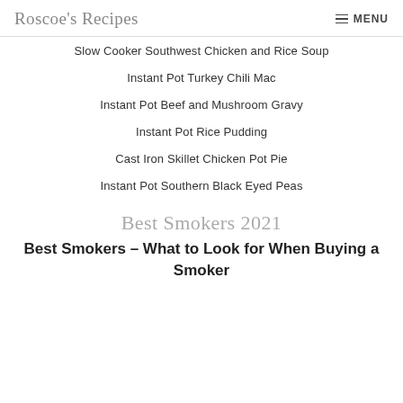Roscoe's Recipes
Slow Cooker Southwest Chicken and Rice Soup
Instant Pot Turkey Chili Mac
Instant Pot Beef and Mushroom Gravy
Instant Pot Rice Pudding
Cast Iron Skillet Chicken Pot Pie
Instant Pot Southern Black Eyed Peas
Best Smokers 2021
Best Smokers – What to Look for When Buying a Smoker